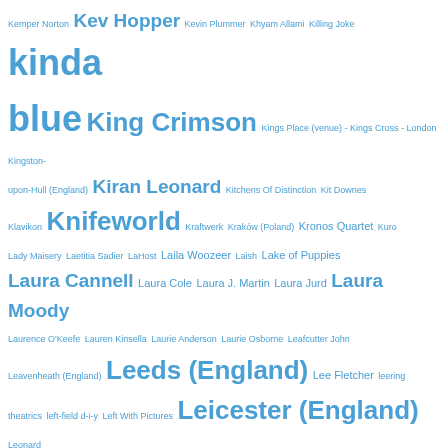[Figure (infographic): Tag cloud of music-related terms, artists, venues, and locations. Tags are displayed in varying font sizes proportional to their frequency/importance, all in a blue color (#4a9fd4). Larger tags include: kinda blue, King Crimson, Knifeworld, Leeds (England), Leicester (England), listening to women, live concerts, Liverpool (England), London (England). Smaller tags include individual artist names and place names.]